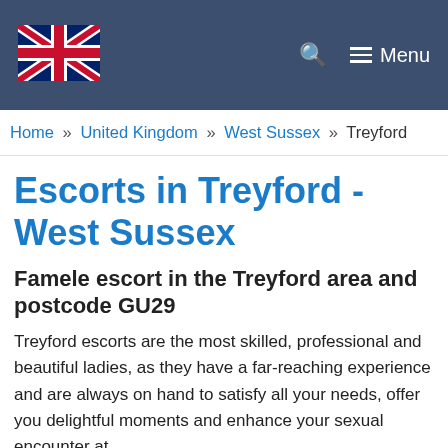UK flag logo, search icon, Menu
Home » United Kingdom » West Sussex » Treyford
Escorts in Treyford - West Sussex
Famele escort in the Treyford area and postcode GU29
Treyford escorts are the most skilled, professional and beautiful ladies, as they have a far-reaching experience and are always on hand to satisfy all your needs, offer you delightful moments and enhance your sexual encounter at